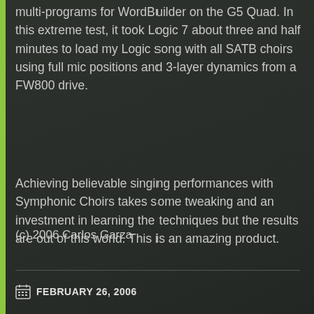multi-programs for WordBuilder on the G5 Quad. In this extreme test, it took Logic 7 about three and half minutes to load my Logic song with all SATB choirs using full mic positions and 3-layer dynamics from a FW800 drive.
Achieving believable singing performances with Symphonic Choirs takes some tweaking and an investment in learning the techniques but the results are out of this world. This is an amazing product.
(c) 2006 Carlos Garza
FEBRUARY 26, 2006